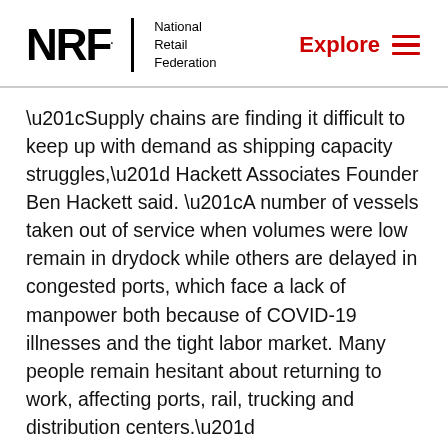NRF National Retail Federation | Explore
“Supply chains are finding it difficult to keep up with demand as shipping capacity struggles,” Hackett Associates Founder Ben Hackett said. “A number of vessels taken out of service when volumes were low remain in drydock while others are delayed in congested ports, which face a lack of manpower both because of COVID-19 illnesses and the tight labor market. Many people remain hesitant about returning to work, affecting ports, rail, trucking and distribution centers.”
U.S. ports covered by Global Port Tracker